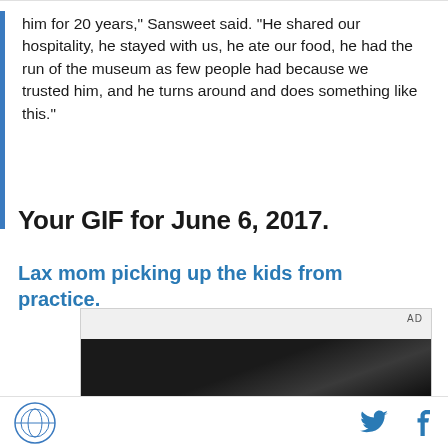him for 20 years," Sansweet said. "He shared our hospitality, he stayed with us, he ate our food, he had the run of the museum as few people had because we trusted him, and he turns around and does something like this."
Your GIF for June 6, 2017.
Lax mom picking up the kids from practice.
[Figure (screenshot): Video advertisement with 'AD' label in top right, showing a dark scene with text 'Unfold world' and a play button in the center]
Site logo icon, Twitter icon, Facebook icon